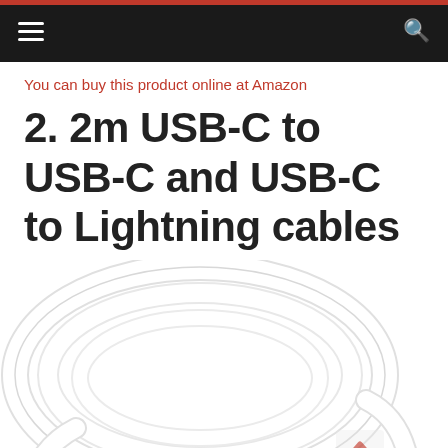Navigation bar with hamburger menu and search icon
You can buy this product online at Amazon
2. 2m USB-C to USB-C and USB-C to Lightning cables
[Figure (photo): A white USB-C cable coiled in a circular loop on a white background, with a USB connector visible at the bottom right.]